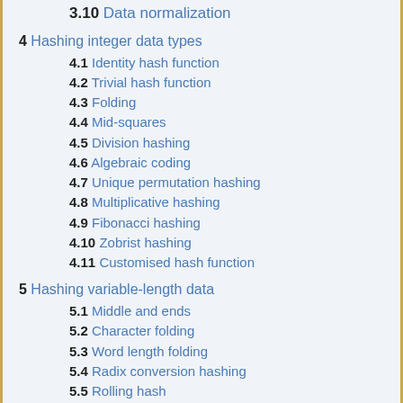3.10 Data normalization
4 Hashing integer data types
4.1 Identity hash function
4.2 Trivial hash function
4.3 Folding
4.4 Mid-squares
4.5 Division hashing
4.6 Algebraic coding
4.7 Unique permutation hashing
4.8 Multiplicative hashing
4.9 Fibonacci hashing
4.10 Zobrist hashing
4.11 Customised hash function
5 Hashing variable-length data
5.1 Middle and ends
5.2 Character folding
5.3 Word length folding
5.4 Radix conversion hashing
5.5 Rolling hash